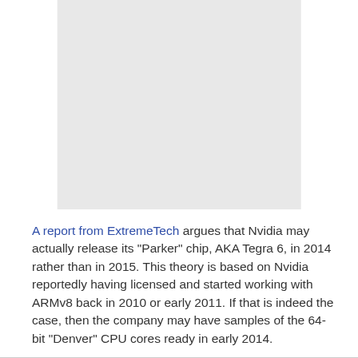[Figure (photo): Gray placeholder image area at top of page]
A report from ExtremeTech argues that Nvidia may actually release its "Parker" chip, AKA Tegra 6, in 2014 rather than in 2015. This theory is based on Nvidia reportedly having licensed and started working with ARMv8 back in 2010 or early 2011. If that is indeed the case, then the company may have samples of the 64-bit "Denver" CPU cores ready in early 2014.
Currently Nvidia is expected to churn out the Tegra 5 "Logan" chip in early 2014, packed with CPU cores based on ARM Cortex-A15, Kepler GPU cores, CUDA